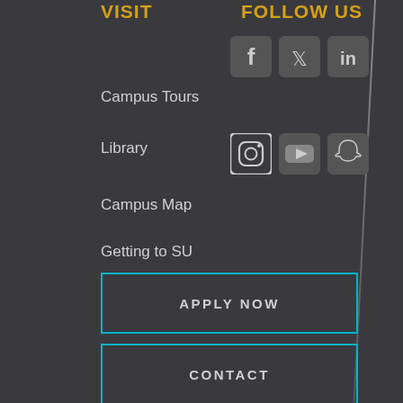Visit
Follow Us
[Figure (illustration): Social media icons row 1: Facebook, Twitter, LinkedIn]
Campus Tours
Library
[Figure (illustration): Social media icons row 2: Instagram, YouTube, Snapchat]
Campus Map
Getting to SU
APPLY NOW
CONTACT
CAREERS
REQUEST INFO